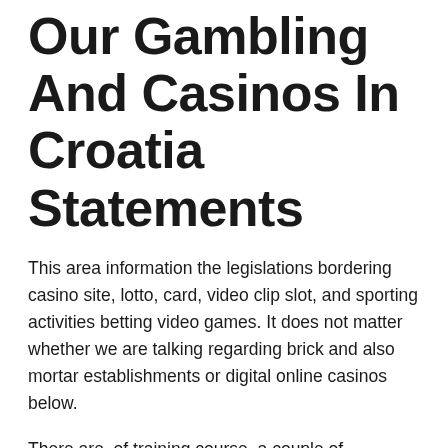Our Gambling And Casinos In Croatia Statements
This area information the legislations bordering casino site, lotto, card, video clip slot, and sporting activities betting video games. It does not matter whether we are talking regarding brick and also mortar establishments or digital online casinos below.
There are, of training course, a couple of testimonies connected to that. To start with, Croatian online casinos need to have a physical visibility in the country. This suggests that they likewise need to run land-based locations. Regrettably, as many gambling establishments are possessed by Hrvatska Lutrija or Prva Sportska Kladionica, Croatian has wound up with something of a syndicate hereof.